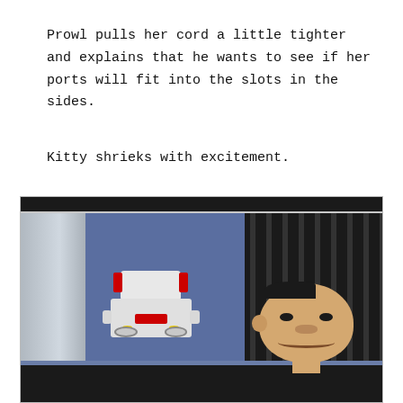Prowl pulls her cord a little tighter and explains that he wants to see if her ports will fit into the slots in the sides.
Kitty shrieks with excitement.
[Figure (photo): Photo of two toy figures on a shelf in front of a blue fabric cubicle wall: a white Transformer robot (Prowl) on the left with red helmet fins, yellow dots, and red Autobot emblem on chest; and a Mr. Bean bobblehead/figure on the right with dark hair, large ears, and a smiling face.]